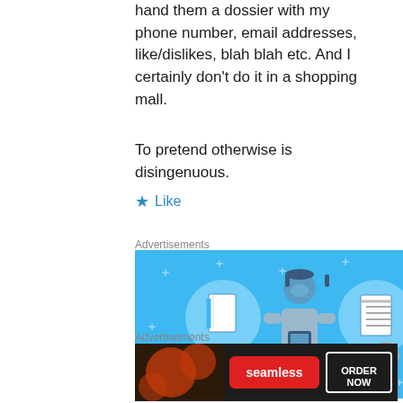hand them a dossier with my phone number, email addresses, like/dislikes, blah blah etc. And I certainly don't do it in a shopping mall.
To pretend otherwise is disingenuous.
★ Like
Advertisements
[Figure (illustration): Blue background advertisement banner with illustrated person holding a phone, flanked by two circular icons showing notebook and list documents, with decorative plus signs scattered across the background.]
Advertisements
[Figure (illustration): Seamless food delivery advertisement showing pizza slices on dark background with Seamless logo in red and ORDER NOW button.]